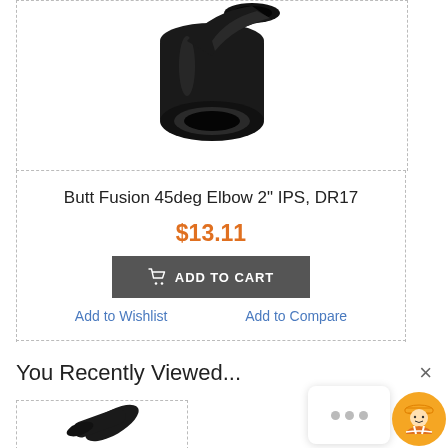[Figure (photo): Black HDPE butt fusion 45 degree elbow pipe fitting viewed from below showing the round opening]
Butt Fusion 45deg Elbow 2" IPS, DR17
$13.11
ADD TO CART
Add to Wishlist
Add to Compare
You Recently Viewed...
[Figure (photo): Black HDPE pipe fitting partially visible at bottom of page]